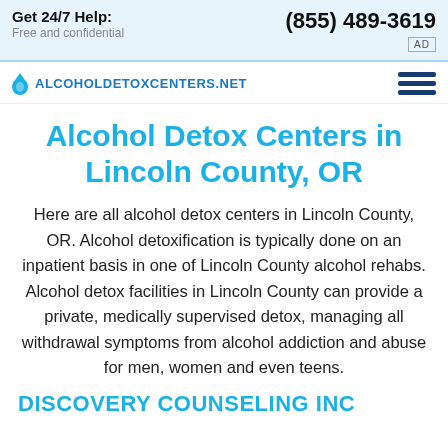Get 24/7 Help: Free and confidential | (855) 489-3619 | AD
[Figure (logo): AlcoholDetoxCenters.net logo with droplet icon and hamburger menu]
Alcohol Detox Centers in Lincoln County, OR
Here are all alcohol detox centers in Lincoln County, OR. Alcohol detoxification is typically done on an inpatient basis in one of Lincoln County alcohol rehabs. Alcohol detox facilities in Lincoln County can provide a private, medically supervised detox, managing all withdrawal symptoms from alcohol addiction and abuse for men, women and even teens.
DISCOVERY COUNSELING INC